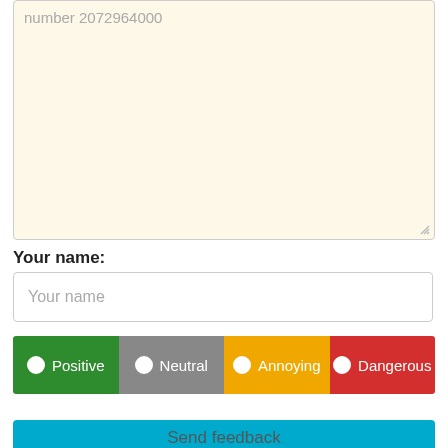number 2072964000
Your name:
Your name
Positive  Neutral  Annoying  Dangerous
Send feedback